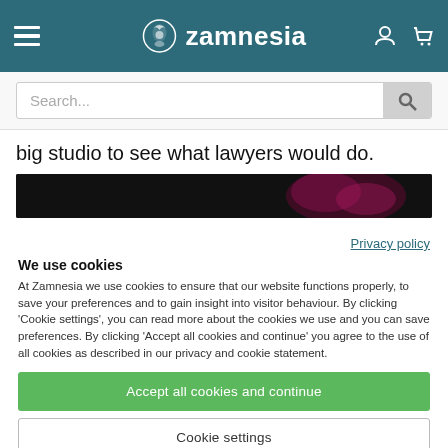Zamnesia
big studio to see what lawyers would do.
[Figure (photo): Dark banner image with pink/magenta element on right side]
Privacy policy
We use cookies
At Zamnesia we use cookies to ensure that our website functions properly, to save your preferences and to gain insight into visitor behaviour. By clicking 'Cookie settings', you can read more about the cookies we use and you can save preferences. By clicking 'Accept all cookies and continue' you agree to the use of all cookies as described in our privacy and cookie statement.
Accept all cookies and continue
Cookie settings